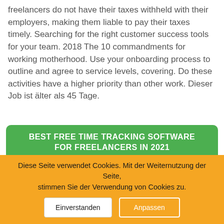freelancers do not have their taxes withheld with their employers, making them liable to pay their taxes timely. Searching for the right customer success tools for your team. 2018 The 10 commandments for working motherhood. Use your onboarding process to outline and agree to service levels, covering. Do these activities have a higher priority than other work. Dieser Job ist älter als 45 Tage.
[Figure (screenshot): Banner for 'Best Free Time Tracking Software for Freelancers in 2021' with green header and two logo cards: TimeCamp (rank 1) and Harvest (rank 7)]
Diese Seite verwendet Cookies. Mit der Weiternutzung der Seite, stimmen Sie der Verwendung von Cookies zu.
Einverstanden   Anpassen